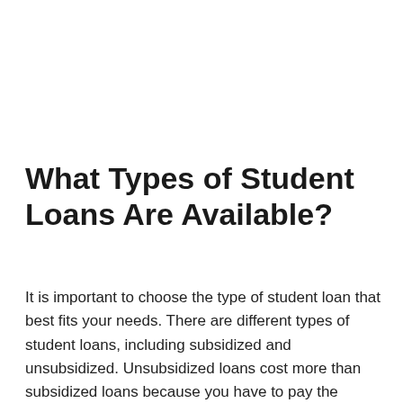What Types of Student Loans Are Available?
It is important to choose the type of student loan that best fits your needs. There are different types of student loans, including subsidized and unsubsidized. Unsubsidized loans cost more than subsidized loans because you have to pay the interest on your own. The difference in costs between these two loans will determine which one your lender offers.